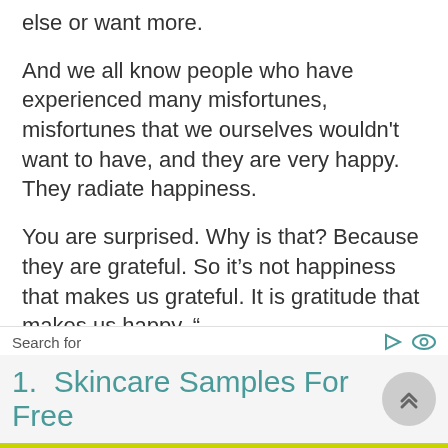else or want more.
And we all know people who have experienced many misfortunes, misfortunes that we ourselves wouldn't want to have, and they are very happy. They radiate happiness.
You are surprised. Why is that? Because they are grateful. So it’s not happiness that makes us grateful. It is gratitude that makes us happy. ”
Most people would sacrifice everything to find happiness, and most of our life choices are made for ultimate happiness.
Search for
1.  Skincare Samples For Free